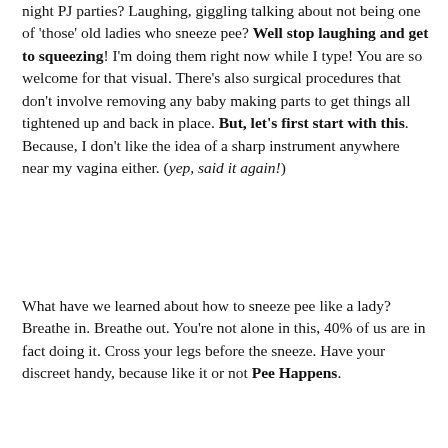night PJ parties? Laughing, giggling talking about not being one of 'those' old ladies who sneeze pee? Well stop laughing and get to squeezing! I'm doing them right now while I type! You are so welcome for that visual. There's also surgical procedures that don't involve removing any baby making parts to get things all tightened up and back in place. But, let's first start with this. Because, I don't like the idea of a sharp instrument anywhere near my vagina either. (yep, said it again!)
What have we learned about how to sneeze pee like a lady? Breathe in. Breathe out. You're not alone in this, 40% of us are in fact doing it. Cross your legs before the sneeze. Have your discreet handy, because like it or not Pee Happens.